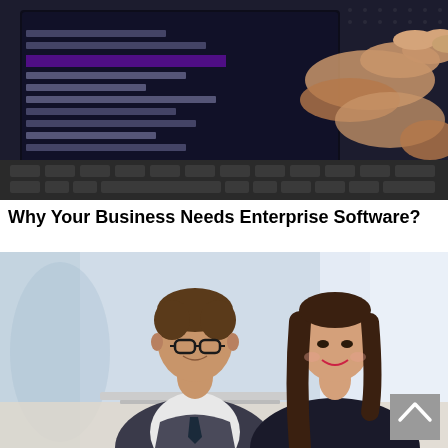[Figure (photo): Close-up of hands typing on a laptop keyboard with code visible on the screen in dark/purple tones]
Why Your Business Needs Enterprise Software?
[Figure (photo): Two business professionals, a man with glasses in a vest and tie and a woman with long brown hair, smiling and looking at a laptop together in a bright office setting]